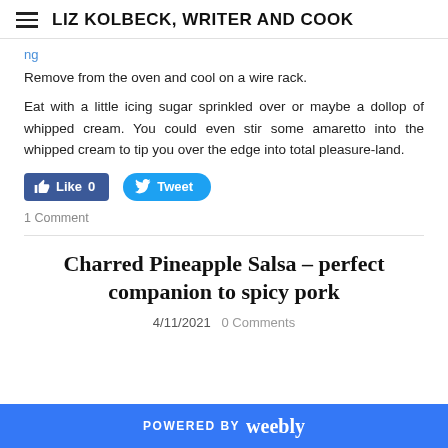LIZ KOLBECK, WRITER AND COOK
Remove from the oven and cool on a wire rack.
Eat with a little icing sugar sprinkled over or maybe a dollop of whipped cream. You could even stir some amaretto into the whipped cream to tip you over the edge into total pleasure-land.
[Figure (screenshot): Facebook Like button showing Like 0 and Twitter Tweet button]
1 Comment
Charred Pineapple Salsa - perfect companion to spicy pork
4/11/2021  0 Comments
POWERED BY weebly